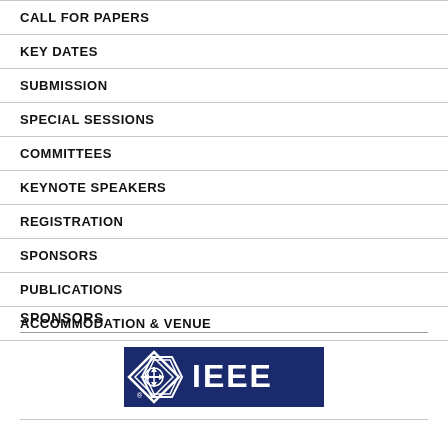CALL FOR PAPERS
KEY DATES
SUBMISSION
SPECIAL SESSIONS
COMMITTEES
KEYNOTE SPEAKERS
REGISTRATION
SPONSORS
PUBLICATIONS
ACCOMMODATION & VENUE
SPONSORS
[Figure (logo): IEEE logo — white text and diamond compass symbol on dark navy blue background]